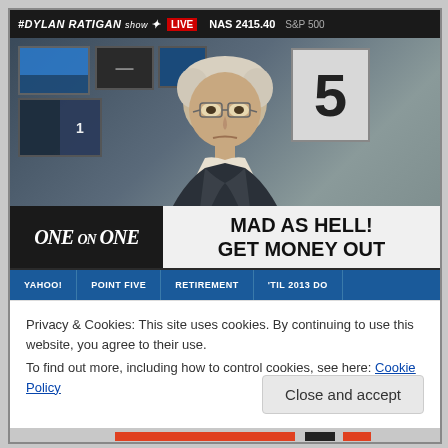[Figure (screenshot): TV news screenshot showing a white-haired man with glasses in a studio setting. The show is 'Dylan Ratigan' with 'LIVE' banner and 'NAS 2415.40' ticker at top. Lower third shows 'ONE ON ONE' logo on left and 'MAD AS HELL! GET MONEY OUT' text on right. Bottom scroll bar shows ticker items.]
Privacy & Cookies: This site uses cookies. By continuing to use this website, you agree to their use.
To find out more, including how to control cookies, see here: Cookie Policy
Close and accept